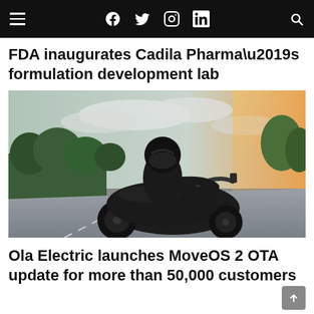Navigation bar with hamburger menu, Facebook, Twitter, Instagram, LinkedIn icons, and search icon
FDA inaugurates Cadila Pharma’s formulation development lab
[Figure (photo): A person in a black helmet and black jacket riding a dark electric scooter on a road, with trees and a golden sunset sky in the background, motion blur effect]
Ola Electric launches MoveOS 2 OTA update for more than 50,000 customers